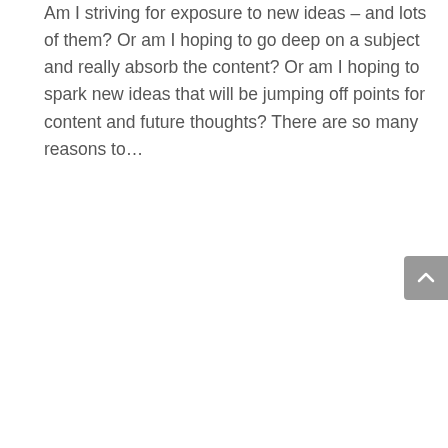Am I striving for exposure to new ideas – and lots of them? Or am I hoping to go deep on a subject and really absorb the content? Or am I hoping to spark new ideas that will be jumping off points for content and future thoughts? There are so many reasons to…